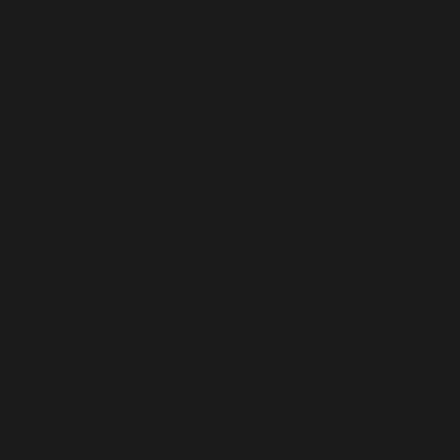Log in  Register
jmackay
2[H]4U
Who made the card? If it is BFG, XFX or Evga you probably have life-time warranty and should send it in rather than try to replace the heatsink/thermal paste.
You must log in or register to reply here.
Share:
< Video Cards
Style chooser
Contact us  Terms and rules  Privacy policy  Help
Design by: Pixel Exit